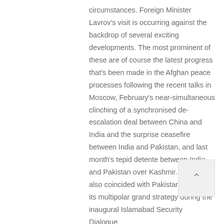circumstances. Foreign Minister Lavrov's visit is occurring against the backdrop of several exciting developments. The most prominent of these are of course the latest progress that's been made in the Afghan peace processes following the recent talks in Moscow, February's near-simultaneous clinching of a synchronised de-escalation deal between China and India and the surprise ceasefire between India and Pakistan, and last month's tepid detente between India and Pakistan over Kashmir. The latter also coincided with Pakistan unveiling its multipolar grand strategy during the inaugural Islamabad Security Dialogue.

Having expected that Russia would inevitably